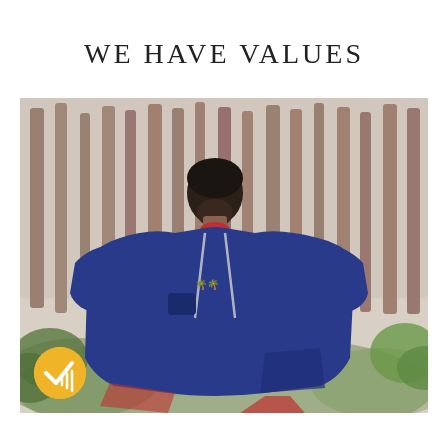We have values
[Figure (photo): A man with dark hair and beard, wearing a navy blue hooded poncho/sweatshirt with short sleeves and red accents, standing in a pine forest with tall tree trunks and green undergrowth in the background. A yellow circular badge with a checkmark icon is visible in the bottom-left corner of the image.]